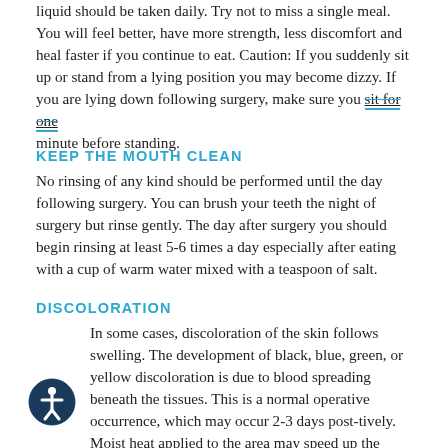liquid should be taken daily. Try not to miss a single meal. You will feel better, have more strength, less discomfort and heal faster if you continue to eat. Caution: If you suddenly sit up or stand from a lying position you may become dizzy. If you are lying down following surgery, make sure you sit for one minute before standing.
KEEP THE MOUTH CLEAN
No rinsing of any kind should be performed until the day following surgery. You can brush your teeth the night of surgery but rinse gently. The day after surgery you should begin rinsing at least 5-6 times a day especially after eating with a cup of warm water mixed with a teaspoon of salt.
DISCOLORATION
In some cases, discoloration of the skin follows swelling. The development of black, blue, green, or yellow discoloration is due to blood spreading beneath the tissues. This is a normal operative occurrence, which may occur 2-3 days post-tively. Moist heat applied to the area may speed up the removal of the discoloration.